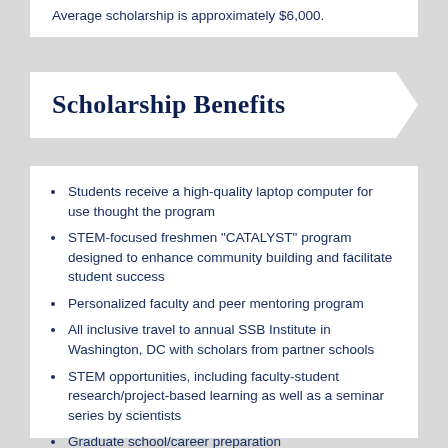Average scholarship is approximately $6,000.
Scholarship Benefits
Students receive a high-quality laptop computer for use thought the program
STEM-focused freshmen "CATALYST" program designed to enhance community building and facilitate student success
Personalized faculty and peer mentoring program
All inclusive travel to annual SSB Institute in Washington, DC with scholars from partner schools
STEM opportunities, including faculty-student research/project-based learning as well as a seminar series by scientists
Graduate school/career preparation